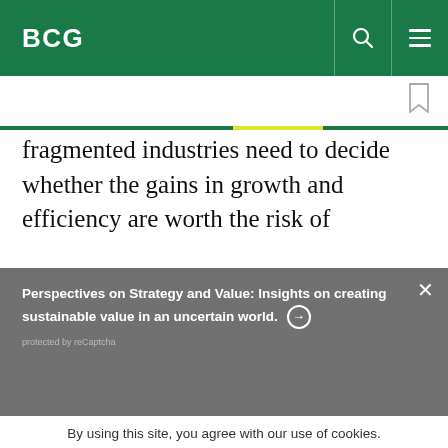BCG
fragmented industries need to decide whether the gains in growth and efficiency are worth the risk of
Perspectives on Strategy and Value: Insights on creating sustainable value in an uncertain world. → protected by reCaptcha
By using this site, you agree with our use of cookies.
I consent to cookies
Want to know more?
Read our Cookie Policy